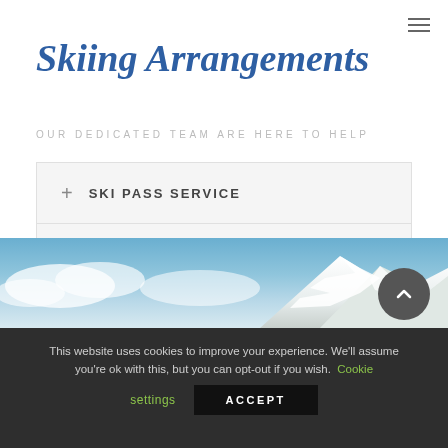≡
Skiing Arrangements
OUR DEDICATED TEAM ARE HERE TO HELP
+ SKI PASS SERVICE
+ SKI HIRE
[Figure (photo): Snow-capped mountain peak under blue sky with clouds]
This website uses cookies to improve your experience. We'll assume you're ok with this, but you can opt-out if you wish. Cookie settings ACCEPT